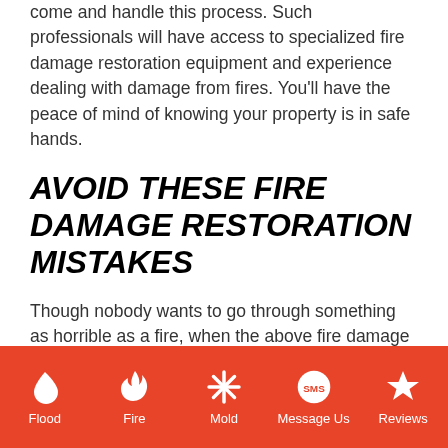come and handle this process. Such professionals will have access to specialized fire damage restoration equipment and experience dealing with damage from fires. You'll have the peace of mind of knowing your property is in safe hands.
AVOID THESE FIRE DAMAGE RESTORATION MISTAKES
Though nobody wants to go through something as horrible as a fire, when the above fire damage restoration mistakes are avoided, it doesn't have to turn out for the worst. If you're in Orange County, you've been through a fire recently, and are in need of fire restoration services, we'd be happy to help.
Flood | Fire | Mold | Message Us | Reviews